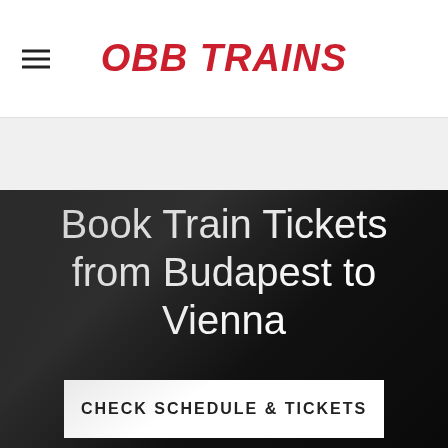OBB TRAINS
Book Train Tickets from Budapest to Vienna
CHECK SCHEDULE & TICKETS